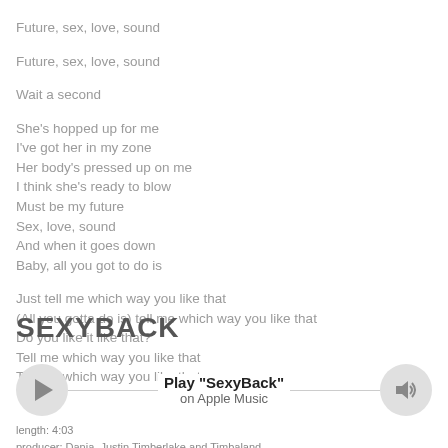Future, sex, love, sound

Future, sex, love, sound

Wait a second

She's hopped up for me
I've got her in my zone
Her body's pressed up on me
I think she's ready to blow
Must be my future
Sex, love, sound
And when it goes down
Baby, all you got to do is

Just tell me which way you like that
(All you gotta do is) tell me which way you like that
Do you like it like that?
Tell me which way you like that
Tell me which way you like that
SEXYBACK
[Figure (other): Music player bar with play button, 'Play "SexyBack" on Apple Music' text, and volume button]
length: 4:03
producer: Danja, Justin Timberlake and Timbaland
vocal: Timbaland and Justin Timberlake